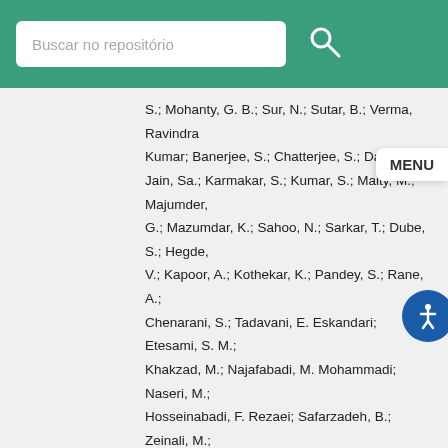Buscar no repositório
S.; Mohanty, G. B.; Sur, N.; Sutar, B.; Verma, Ravindra Kumar; Banerjee, S.; Chatterjee, S.; Das, P.; G MENU ; Jain, Sa.; Karmakar, S.; Kumar, S.; Maity, M.; Majumder, G.; Mazumdar, K.; Sahoo, N.; Sarkar, T.; Dube, S.; Hegde, V.; Kapoor, A.; Kothekar, K.; Pandey, S.; Rane, A.; Chenarani, S.; Tadavani, E. Eskandari; Etesami, S. M.; Khakzad, M.; Najafabadi, M. Mohammadi; Naseri, M.; Hosseinabadi, F. Rezaei; Safarzadeh, B.; Zeinali, M.; Felcini, M.; Grunewald, M.; Abbrescia, M.; Calabria, C.; Colaleo, A.; Creanza, D.; Cristella, L.; De Filippis, N.; De Palma, M.; Di Florio, A.; Errico, F.; Fiore, L.; Gelmi, A.; Iaselli, G.; Ince, M.; Lezki, S.; Maggi, G.; Maggi, M.; Miniello, G.; My, S.; Nuzzo, S.; Pompili, A.; Pugliese, G.; Radogna, R.; Ranieri, A.; Selvaggi, G.; Sharma, A.; Silvestris, L.; Venditti, R.; Verwilligen, P.; Zito, G.; Abbiendi, G.; Battilana, C.; Bonacorsi, D.; Borgonovi, L.; Braibant-Giacomelli, S.; Campanini, R.; Capiluppi, P.; Castro, A.; Cavallo, F. R.; Chhibra, S. S.; Ciocca, C.; Codispoti, G.; Cuffiani, M.; Dallavalle, G. M.; Fabbri, F.;